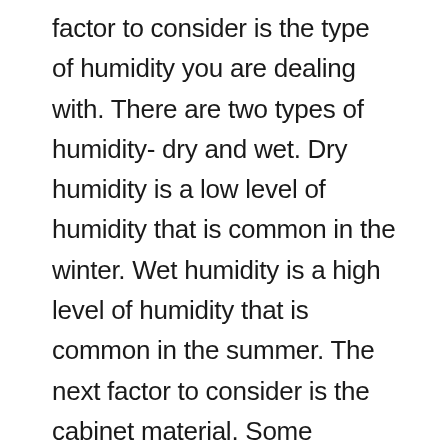factor to consider is the type of humidity you are dealing with. There are two types of humidity- dry and wet. Dry humidity is a low level of humidity that is common in the winter. Wet humidity is a high level of humidity that is common in the summer. The next factor to consider is the cabinet material. Some materials are more resistant to humidity than others. The most resistant materials are metal and glass. The least resistant materials are wood and plastic. The next factor to consider is the cabinet construction. Some construction methods are more resistant to humidity than others. The most resistant construction method is cabinet with a solid wood frame. The least resistant construction method is cabinet with a paperboard